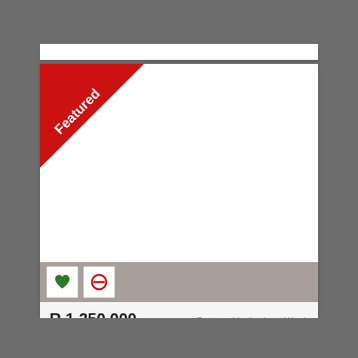[Figure (other): Real estate listing card with white image area, 'Featured' red ribbon in top-left corner, action bar with heart and no-entry icons, price R 1,250,000, location Quigney, 3 Bed 4 Bath tags, and 'Featured in the Last Week' label]
R 1,250,000
Featured in the Last Week
Quigney
3 Bed
4 Bath